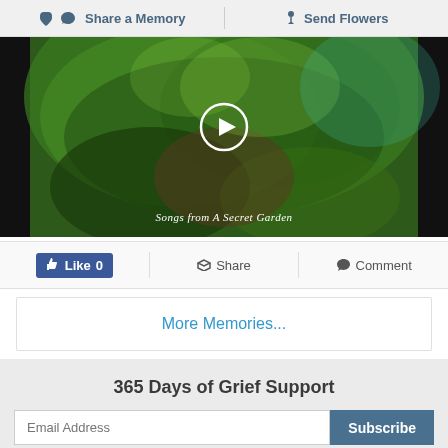Share a Memory | Send Flowers
[Figure (screenshot): Video player showing a green nature scene with a play button in the center. Text at bottom reads 'Songs from A Secret Garden']
Like 0 | Share | Comment
More Memories...
365 Days of Grief Support
Email Address  [Subscribe button]